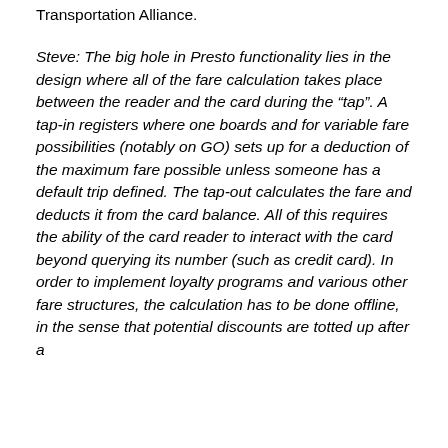Transportation Alliance.
Steve: The big hole in Presto functionality lies in the design where all of the fare calculation takes place between the reader and the card during the “tap”. A tap-in registers where one boards and for variable fare possibilities (notably on GO) sets up for a deduction of the maximum fare possible unless someone has a default trip defined. The tap-out calculates the fare and deducts it from the card balance. All of this requires the ability of the card reader to interact with the card beyond querying its number (such as credit card). In order to implement loyalty programs and various other fare structures, the calculation has to be done offline, in the sense that potential discounts are totted up after a